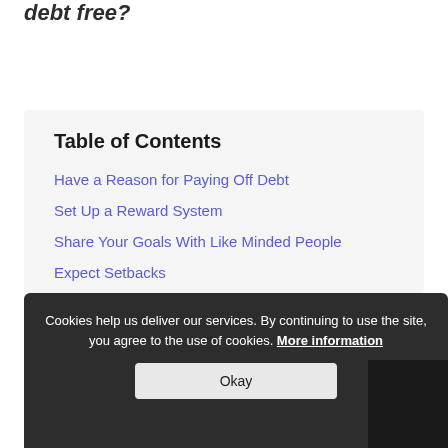debt free?
Table of Contents
Have a Reason for Paying Off Debt
Set Up a Reward System
Share Your Goals With Like Minded People
Expect Setbacks
Stay Motivated When Paying Off Debt
Cookies help us deliver our services. By continuing to use the site, you agree to the use of cookies. More information
Okay